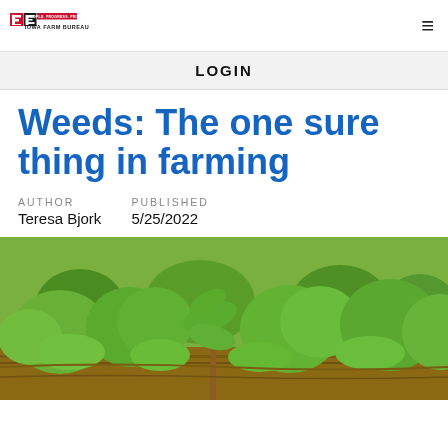IOWA FARM BUREAU
LOGIN
Weeds: The one sure thing in farming
AUTHOR
Teresa Bjork
PUBLISHED
5/25/2022
[Figure (photo): Close-up photograph of weeds and soybean plants growing in a farm field, showing green leafy plants and soil in the foreground]